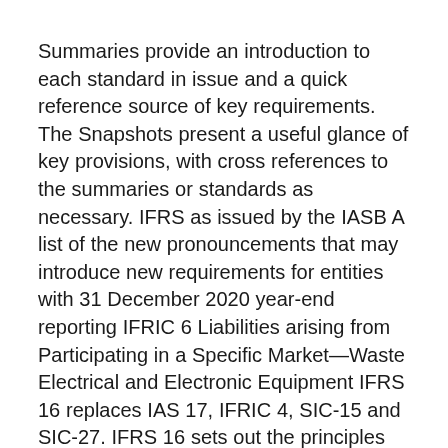Summaries provide an introduction to each standard in issue and a quick reference source of key requirements. The Snapshots present a useful glance of key provisions, with cross references to the summaries or standards as necessary. IFRS as issued by the IASB A list of the new pronouncements that may introduce new requirements for entities with 31 December 2020 year-end reporting IFRIC 6 Liabilities arising from Participating in a Specific Market—Waste Electrical and Electronic Equipment IFRS 16 replaces IAS 17, IFRIC 4, SIC-15 and SIC-27. IFRS 16 sets out the principles for the recognition, measurement, presentation and disclosure of leases. In May 2020 the Board issued Covid-19-Related Rent Concessions, which amended IFRS 16.
Jobb socialpedagog uppsala